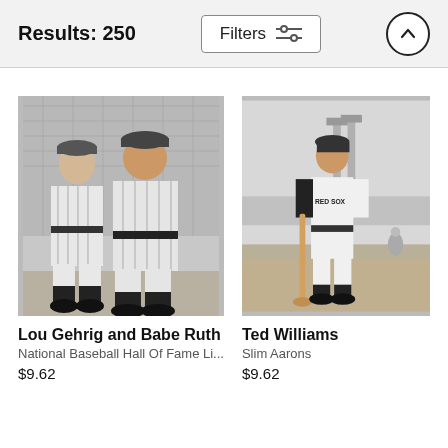Results: 250
[Figure (photo): Black and white photograph of Lou Gehrig and Babe Ruth standing in baseball uniforms]
Lou Gehrig and Babe Ruth
National Baseball Hall Of Fame Li...
$9.62
[Figure (photo): Black and white photograph of Ted Williams in a Red Sox uniform holding a bat on a baseball field]
Ted Williams
Slim Aarons
$9.62